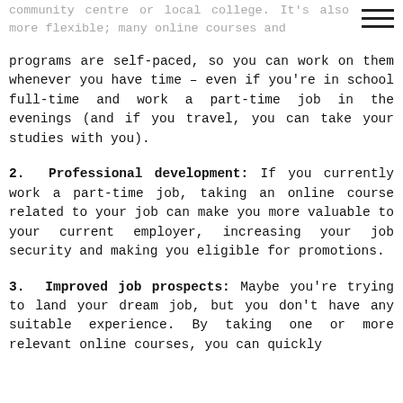community centre or local college. It's also more flexible; many online courses and
programs are self-paced, so you can work on them whenever you have time – even if you're in school full-time and work a part-time job in the evenings (and if you travel, you can take your studies with you).
2. Professional development: If you currently work a part-time job, taking an online course related to your job can make you more valuable to your current employer, increasing your job security and making you eligible for promotions.
3. Improved job prospects: Maybe you're trying to land your dream job, but you don't have any suitable experience. By taking one or more relevant online courses, you can quickly